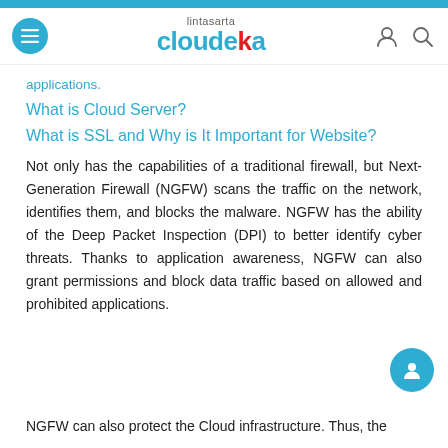lintasarta cloudeka
applications.
What is Cloud Server?
What is SSL and Why is It Important for Website?
Not only has the capabilities of a traditional firewall, but Next-Generation Firewall (NGFW) scans the traffic on the network, identifies them, and blocks the malware. NGFW has the ability of the Deep Packet Inspection (DPI) to better identify cyber threats. Thanks to application awareness, NGFW can also grant permissions and block data traffic based on allowed and prohibited applications.
NGFW can also protect the Cloud infrastructure. Thus, the